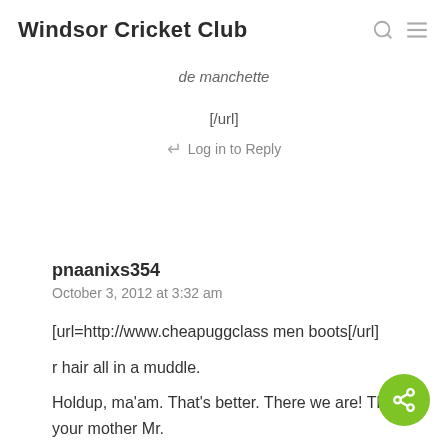Windsor Cricket Club
de manchette
[/url]
Log in to Reply
pnaanixs354
October 3, 2012 at 3:32 am
[url=http://www.cheapuggclass men boots[/url]
r hair all in a muddle.
Holdup, ma'am. That's better. There we are! Think of your mother Mr.